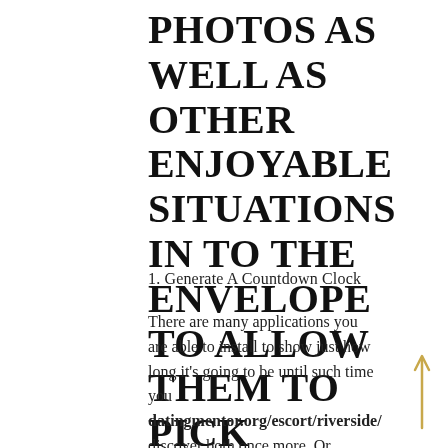PHOTOS AS WELL AS OTHER ENJOYABLE SITUATIONS IN TO THE ENVELOPE TO ALLOW THEM TO PICK
1. Generate A Countdown Clock
There are many applications you are able to install to show just how long it's going to be until such time you datingmentor.org/escort/riverside/ discover both once more. Or deliver